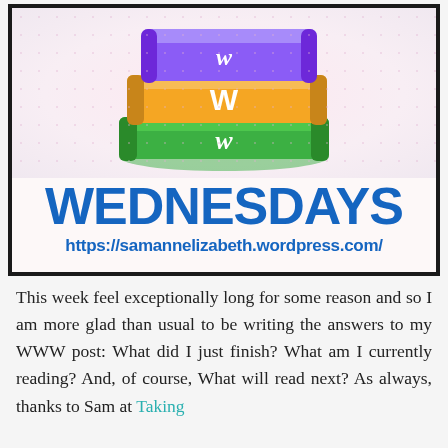[Figure (illustration): WWW Wednesdays blog meme image. Three stacked books (purple on top with italic lowercase 'w', orange in middle with uppercase 'W', green on bottom with italic lowercase 'w') on a dotted pink background. Large bold blue text reads 'WEDNESDAYS' and below it the URL 'https://samannelizabeth.wordpress.com/']
This week feel exceptionally long for some reason and so I am more glad than usual to be writing the answers to my WWW post: What did I just finish? What am I currently reading? And, of course, What will read next? As always, thanks to Sam at Taking